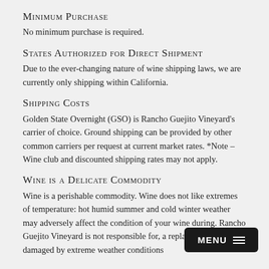Minimum Purchase
No minimum purchase is required.
States Authorized for Direct Shipment
Due to the ever-changing nature of wine shipping laws, we are currently only shipping within California.
Shipping Costs
Golden State Overnight (GSO) is Rancho Guejito Vineyard's carrier of choice. Ground shipping can be provided by other common carriers per request at current market rates. *Note – Wine club and discounted shipping rates may not apply.
Wine is a Delicate Commodity
Wine is a perishable commodity. Wine does not like extremes of temperature: hot humid summer and cold winter weather may adversely affect the condition of your wine during. Rancho Guejito Vineyard is not responsible for, a replace wine that is damaged by extreme weather conditions